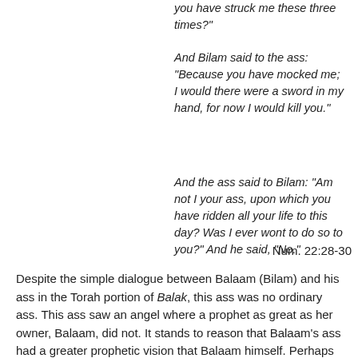you have struck me these three times?"
And Bilam said to the ass: “Because you have mocked me; I would there were a sword in my hand, for now I would kill you.”
And the ass said to Bilam: “Am not I your ass, upon which you have ridden all your life to this day? Was I ever wont to do so to you?” And he said, “No.”
Num. 22:28-30
Despite the simple dialogue between Balaam (Bilam) and his ass in the Torah portion of Balak, this ass was no ordinary ass. This ass saw an angel where a prophet as great as her owner, Balaam, did not. It stands to reason that Balaam’s ass had a greater prophetic vision that Balaam himself. Perhaps she can teach us a lesson or two. Let us listen to what she has to say…